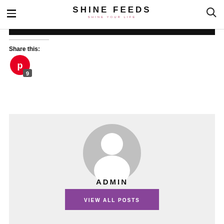SHINE FEEDS — SHINE YOUR LIFE
[Figure (screenshot): Black navigation bar at top of page]
Share this:
[Figure (logo): Pinterest share button with count of 9]
[Figure (illustration): Author avatar placeholder — grey circle with white silhouette of a person]
ADMIN
VIEW ALL POSTS